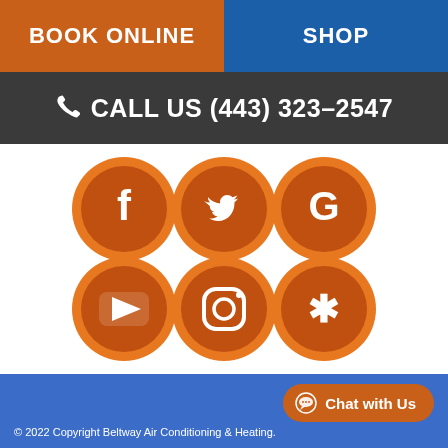BOOK ONLINE | SHOP
CALL US (443) 323-2547
[Figure (illustration): Six social media icons in orange circles: Facebook, Twitter, Google, YouTube, Instagram, Yelp]
© 2022 Copyright Beltway Air Conditioning & Heating.
Chat with Us